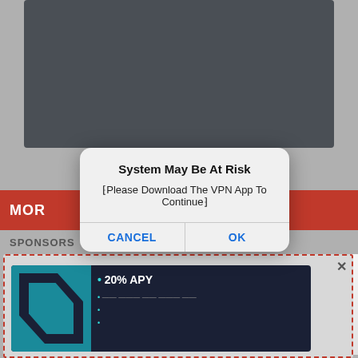[Figure (screenshot): Mobile app screenshot showing a dark video area at top, a red navigation bar with 'MOR' text, a SPONSORS section, and an advertisement banner with dashed red border containing a crypto/finance ad with '20% APY' text and a teal logo. A modal dialog overlays the screen.]
System May Be At Risk
‹Please Download The VPN App To Continue›
CANCEL
OK
SPONSORS
20% APY